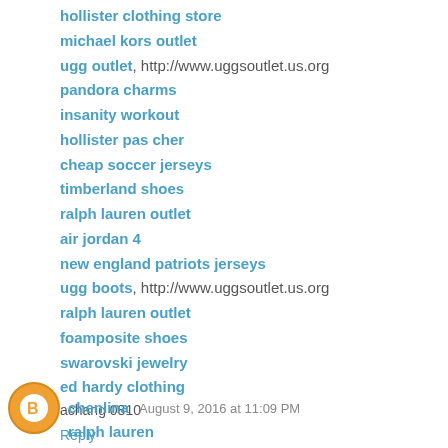hollister clothing store
michael kors outlet
ugg outlet, http://www.uggsoutlet.us.org
pandora charms
insanity workout
hollister pas cher
cheap soccer jerseys
timberland shoes
ralph lauren outlet
air jordan 4
new england patriots jerseys
ugg boots, http://www.uggsoutlet.us.org
ralph lauren outlet
foamposite shoes
swarovski jewelry
ed hardy clothing
achang 0810
Reply
chenlina  August 9, 2016 at 11:09 PM
ralph lauren